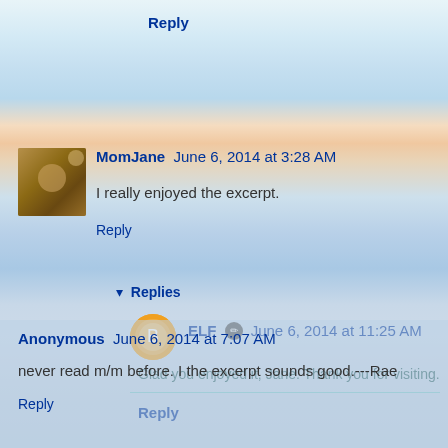Reply
MomJane  June 6, 2014 at 3:28 AM
I really enjoyed the excerpt.
Reply
Replies
ELF  June 6, 2014 at 11:25 AM
Glad you enjoyed it, Jane. Thank you for visiting.
Reply
Anonymous  June 6, 2014 at 7:07 AM
never read m/m before. I the excerpt sounds good.---Rae
Reply